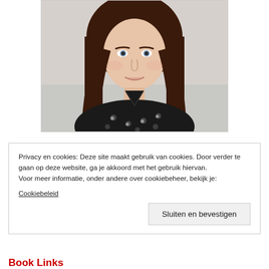[Figure (photo): Portrait photo of a young woman with long dark brown hair, light skin, wearing a black polka dot top, looking at the camera with a slight smile. Background is a light-colored wall/couch.]
Privacy en cookies: Deze site maakt gebruik van cookies. Door verder te gaan op deze website, ga je akkoord met het gebruik hiervan.
Voor meer informatie, onder andere over cookiebeheer, bekijk je:
Cookiebeleid
Sluiten en bevestigen
Book Links